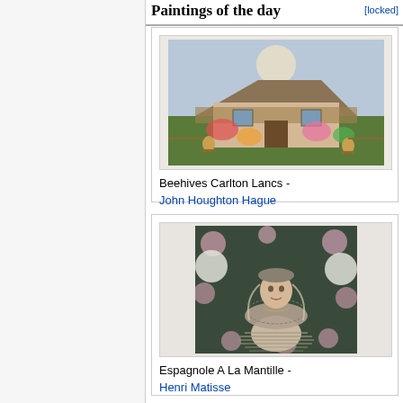Paintings of the day
[Figure (illustration): Painting titled 'Beehives Carlton Lancs' by John Houghton Hague showing a rural cottage garden scene with thatched cottage, flowers, and beehives.]
Beehives Carlton Lancs -
John Houghton Hague
[Figure (illustration): Painting titled 'Espagnole A La Mantille' by Henri Matisse showing a Spanish woman with mantilla veil surrounded by floral patterns.]
Espagnole A La Mantille -
Henri Matisse